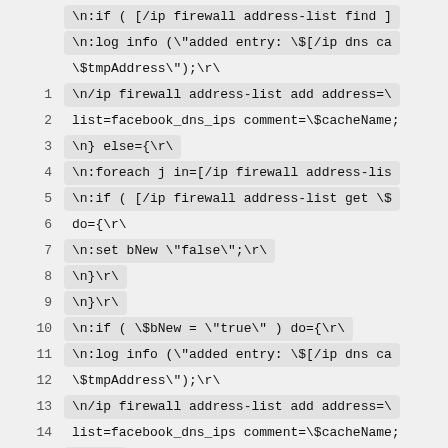\n:if ( [/ip firewall address-list find ]
\n:log info (\"added entry: \$[/ip dns ca
\$tmpAddress\");\r\
1  \n/ip firewall address-list add address=\
2  list=facebook_dns_ips comment=\$cacheName;
3  \n} else={\r\
4  \n:foreach j in=[/ip firewall address-lis
5  \n:if ( [/ip firewall address-list get \$
6  do={\r\
7  \n:set bNew \"false\";\r\
8  \n}\r\
9  \n}\r\
10 \n:if ( \$bNew = \"true\" ) do={\r\
11 \n:log info (\"added entry: \$[/ip dns ca
12 \$tmpAddress\");\r\
13 \n/ip firewall address-list add address=\
14 list=facebook_dns_ips comment=\$cacheName;
15 \}\r\